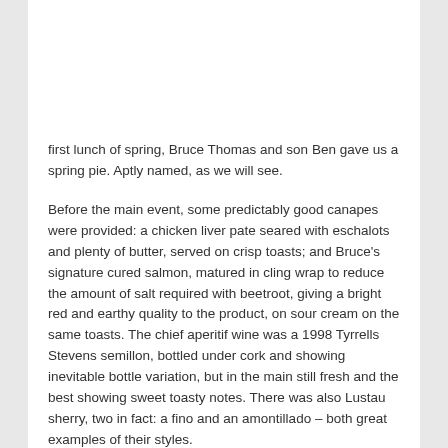first lunch of spring, Bruce Thomas and son Ben gave us a spring pie. Aptly named, as we will see.
Before the main event, some predictably good canapes were provided: a chicken liver pate seared with eschalots and plenty of butter, served on crisp toasts; and Bruce's signature cured salmon, matured in cling wrap to reduce the amount of salt required with beetroot, giving a bright red and earthy quality to the product, on sour cream on the same toasts. The chief aperitif wine was a 1998 Tyrrells Stevens semillon, bottled under cork and showing inevitable bottle variation, but in the main still fresh and the best showing sweet toasty notes. There was also Lustau sherry, two in fact: a fino and an amontillado – both great examples of their styles.
The spring pie, the pastry made on Bruce's adaptation of a Maggie Beer recipe with butter and sour cream to "lengthen" the result, was terrific, the pastry done